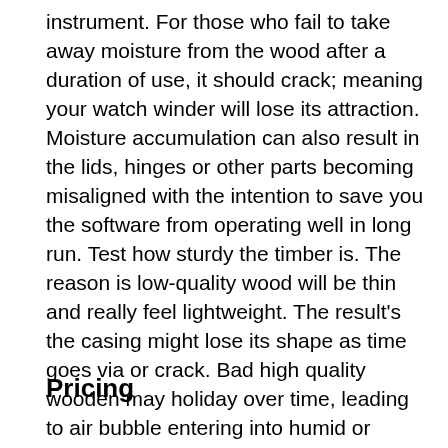instrument. For those who fail to take away moisture from the wood after a duration of use, it should crack; meaning your watch winder will lose its attraction. Moisture accumulation can also result in the lids, hinges or other parts becoming misaligned with the intention to save you the software from operating well in long run. Test how sturdy the timber is. The reason is low-quality wood will be thin and really feel lightweight. The result's the casing might lose its shape as time goes via or crack. Bad high quality wooden may holiday over time, leading to air bubble entering into humid or scorching spaces. When you live in tropical areas, you should make a selection an automated watch winder fabricated from high-quality timber.
Pricing